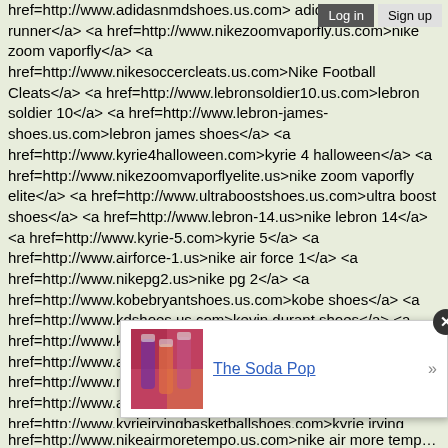Log in  Sign up
href=http://www.adidasnmdshoes.us.com> adidas nmd runner</a> <a href=http://www.nikezoomvaporfly.us.com>nike zoom vaporfly</a> <a href=http://www.nikesoccercleats.us.com>Nike Football Cleats</a> <a href=http://www.lebronsoldier10.us.com>lebron soldier 10</a> <a href=http://www.lebron-james-shoes.us.com>lebron james shoes</a> <a href=http://www.kyrie4halloween.com>kyrie 4 halloween</a> <a href=http://www.nikezoomvaporflyelite.us>nike zoom vaporfly elite</a> <a href=http://www.ultraboostshoes.us.com>ultra boost shoes</a> <a href=http://www.lebron-14.us>nike lebron 14</a> <a href=http://www.kyrie-5.com>kyrie 5</a> <a href=http://www.airforce-1.us>nike air force 1</a> <a href=http://www.nikepg2.us>nike pg 2</a> <a href=http://www.kobebryantshoes.us.com>kobe shoes</a> <a href=http://www.kdshoes.us.com>kevin durant shoes</a> <a href=http://www.kyrie-4.org>kyrie 4</a> <a href=http://www.airmax270.us>nike air max 270</a> <a href=http://www.nikeairpresto.us.com>nike air presto</a> <a href=http://www.airjordan32.us>jordan 32</a> <a href=http://www.kyrieirvingbasketballshoes.com>kyrie irving basketball shoes</a> <a href=http://www.kyrie2.us>kyrie 2</a> <a href=http://www.kyrie3shoes.com>kyrie shoes 3</a> <a href=http://www.pumafentyslides.us>puma fenty slides</a> <a href=http://www.curry-5.com>curry 5</a> <a href=http://www.mizunoshoes.us.com>mizuno shoes</a> <a href=http://...
[Figure (screenshot): A popup notification showing a thumbnail image of colorful soda pop bottles and the text 'The Soda Pop' as a link, with a close button (X) and a right arrow.]
href=http://www.nikeairmoretempo.us.com>nike air more tempo a